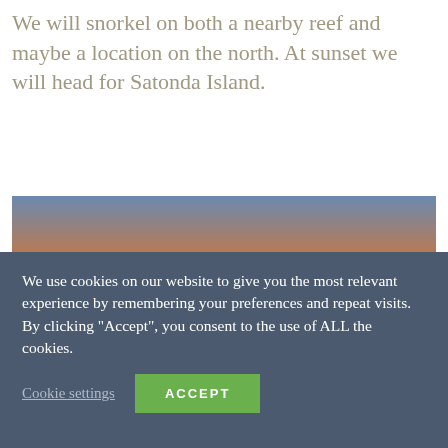We will snorkel on both a nearby reef and maybe a location on the north. At sunset we will head for Satonda Island.
[Figure (photo): Sunset over calm water with a volcanic island silhouette in the background; orange and red sky with sun partially dipping below the horizon to the left, rocky shore vegetation visible at bottom right]
We use cookies on our website to give you the most relevant experience by remembering your preferences and repeat visits. By clicking “Accept”, you consent to the use of ALL the cookies.